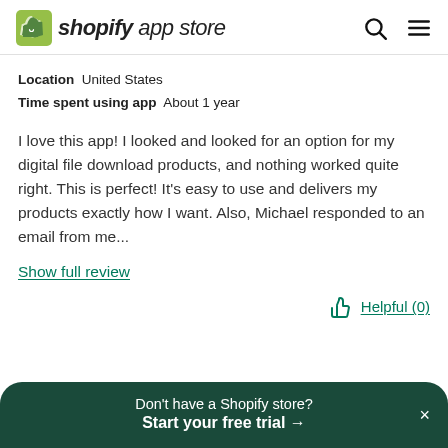shopify app store
Location  United States
Time spent using app  About 1 year
I love this app! I looked and looked for an option for my digital file download products, and nothing worked quite right. This is perfect! It's easy to use and delivers my products exactly how I want. Also, Michael responded to an email from me...
Show full review
Helpful (0)
Don't have a Shopify store?
Start your free trial →